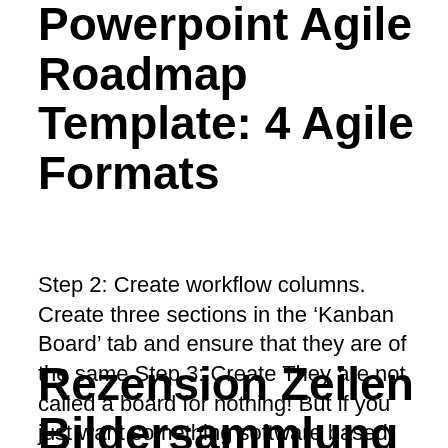Powerpoint Agile Roadmap Template: 4 Agile Formats
Step 2: Create workflow columns. Create three sections in the ‘Kanban Board’ tab and ensure that they are of the same Step 3: Create They are not called a board for nothing! But if you just want something software based then yes you can create a Kanban board in Excel by following these simple steps.
Rezension Zeilen Bildersammlung and Zeilenumbruch Excel